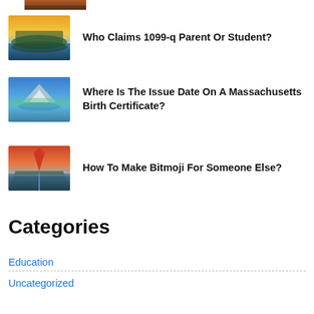[Figure (photo): Partial thumbnail of landscape image at top, cropped]
Who Claims 1099-q Parent Or Student?
Where Is The Issue Date On A Massachusetts Birth Certificate?
How To Make Bitmoji For Someone Else?
Categories
Education
Uncategorized